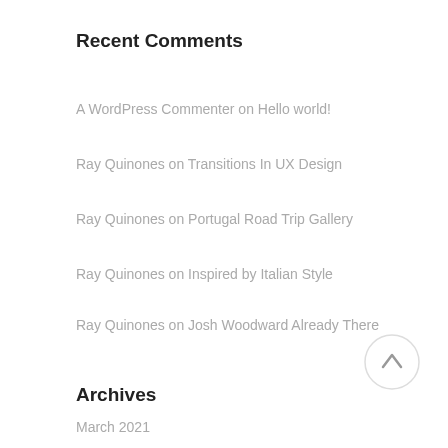Recent Comments
A WordPress Commenter on Hello world!
Ray Quinones on Transitions In UX Design
Ray Quinones on Portugal Road Trip Gallery
Ray Quinones on Inspired by Italian Style
Ray Quinones on Josh Woodward Already There
Archives
March 2021
February 2016